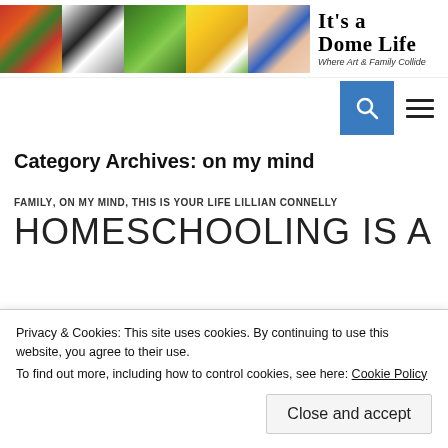It's a Dome Life — Where Art & Family Collide
Category Archives: on my mind
FAMILY, ON MY MIND, THIS IS YOUR LIFE LILLIAN CONNELLY
HOMESCHOOLING IS A
Privacy & Cookies: This site uses cookies. By continuing to use this website, you agree to their use.
To find out more, including how to control cookies, see here: Cookie Policy